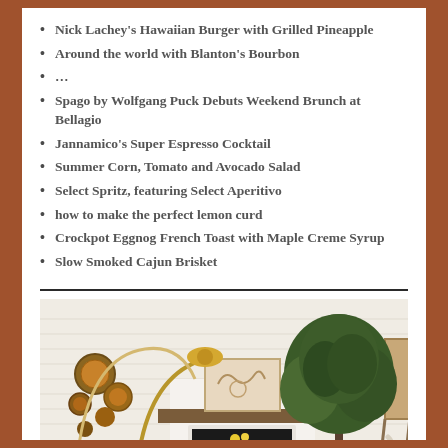Nick Lachey's Hawaiian Burger with Grilled Pineapple
Around the world with Blanton's Bourbon
...
Spago by Wolfgang Puck Debuts Weekend Brunch at Bellagio
Jannamico's Super Espresso Cocktail
Summer Corn, Tomato and Avocado Salad
Select Spritz, featuring Select Aperitivo
how to make the perfect lemon curd
Crockpot Eggnog French Toast with Maple Creme Syrup
Slow Smoked Cajun Brisket
[Figure (photo): A bright, modern living room with white shiplap walls, a white fireplace with wood mantel, abstract art above the mantel, a tall indoor tree, a lean ladder with draped towels, a cream sofa, a navy armchair, wall-mounted decorative plates, and an arch floor lamp with gold details.]